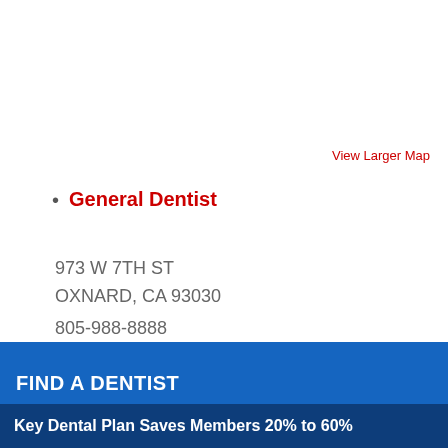View Larger Map
General Dentist
973 W 7TH ST
OXNARD, CA 93030
805-988-8888
FIND A DENTIST
Key Dental Plan Saves Members 20% to 60%